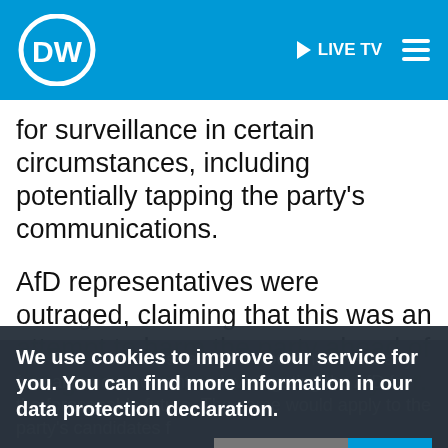DW | LIVE TV
for surveillance in certain circumstances, including potentially tapping the party's communications.
AfD representatives were outraged, claiming that this was an attempt to harm the party ahead of the general election later this year.
The BfV, however, stressed it would not make any formal announcement on investigating the AfD for the foreseeable future. The same would apply to the party's candidates f... 2...
We use cookies to improve our service for you. You can find more information in our data protection declaration.
More info | OK